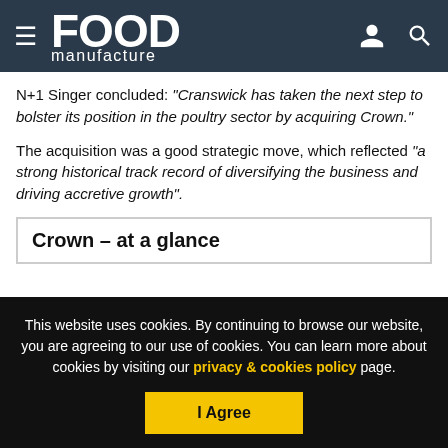FOOD manufacture
N+1 Singer concluded: “Cranswick has taken the next step to bolster its position in the poultry sector by acquiring Crown.”
The acquisition was a good strategic move, which reflected “a strong historical track record of diversifying the business and driving accretive growth”.
Crown – at a glance
This website uses cookies. By continuing to browse our website, you are agreeing to our use of cookies. You can learn more about cookies by visiting our privacy & cookies policy page.
I Agree